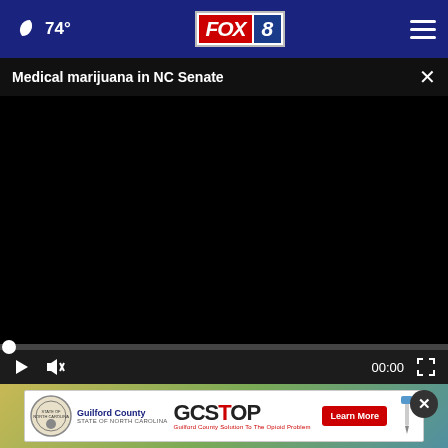74° FOX 8
Medical marijuana in NC Senate
[Figure (screenshot): Black video player area showing paused video with progress bar and controls showing 00:00]
[Figure (screenshot): Advertisement banner for Guilford County GCSTOP (Guilford County Solution To The Opioid Problem) with Learn More button]